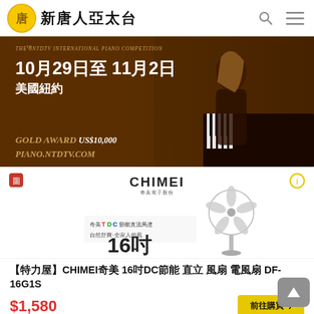新唐人亞太台
[Figure (photo): Piano competition banner: THE 6TH NTDTV INTERNATIONAL PIANO COMPETITION, 10月29日至11月2日 美國紐約, GOLD AWARD US$10,000, PIANO.NTDTV.COM, with pianist image on dark brown background]
[Figure (photo): CHIMEI advertisement showing a 16吋 DC motor standing fan product]
【特力屋】CHIMEI奇美 16吋DC節能 直立 風扇 電風扇 DF-16G1S
$1,580